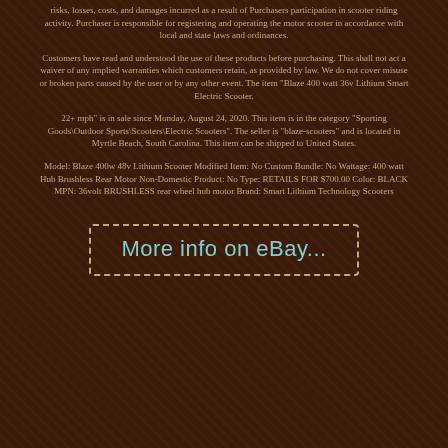risks, losses, costs, and damages incurred as a result of Purchasers participation in scooter riding activity. Purchaser is responsible for registering and operating the motor scooter in accordance with local and state laws and ordinances.
Customers have read and understood the use of these products before purchasing. This shall not act a waiver of any implied warranties which customers retain, as provided by law. We do not cover misuse or broken parts caused by the user or by any other event. The item "Blaze 400 watt 36v Lithium Smart Electric Scooter.
22+ mph" is in sale since Monday, August 24, 2020. This item is in the category "Sporting Goods\Outdoor Sports\Scooters\Electric Scooters". The seller is "blaze-scooters" and is located in Myrtle Beach, South Carolina. This item can be shipped to United States.
Model: Blaze 400w 48v Lithium Scooter Modified Item: No Custom Bundle: No Wattage: 400 watt Hub Brushless Rear Motor Non-Domestic Product: No Type: RETAILS FOR $700.00 Color: BLACK MPN: 36volt BRUSHLESS rear wheel hub motor Brand: Smart Lithium Technology Scooters
[Figure (other): Button/link with dashed border reading 'More info on eBay...' in teal/cyan text]